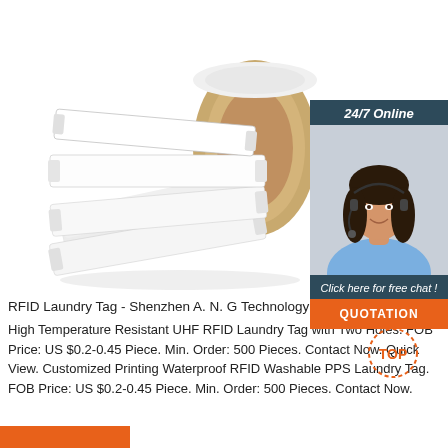[Figure (photo): A roll of white RFID laundry tags on a white background, showing the tags peeling off the roll.]
[Figure (photo): Customer service agent (woman with headset, smiling) with '24/7 Online' header, 'Click here for free chat!' text, and an orange QUOTATION button.]
RFID Laundry Tag - Shenzhen A. N. G Technology C...
High Temperature Resistant UHF RFID Laundry Tag with Two Holes. FOB Price: US $0.2-0.45 Piece. Min. Order: 500 Pieces. Contact Now. Quick View. Customized Printing Waterproof RFID Washable PPS Laundry Tag. FOB Price: US $0.2-0.45 Piece. Min. Order: 500 Pieces. Contact Now.